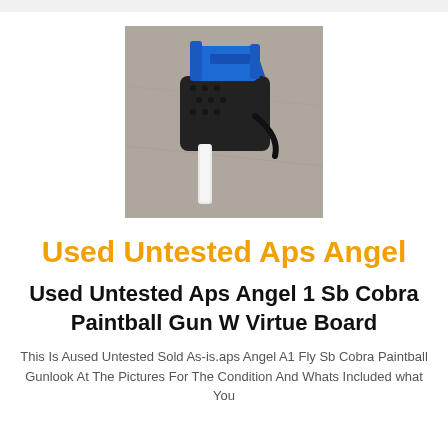[Figure (photo): A blue and black paintball gun (APS Angel 1 Sb Cobra) with a white barrel, laid on a concrete surface]
Used Untested Aps Angel
Used Untested Aps Angel 1 Sb Cobra Paintball Gun W Virtue Board
This Is Aused Untested Sold As-is.aps Angel A1 Fly Sb Cobra Paintball Gunlook At The Pictures For The Condition And Whats Included what You